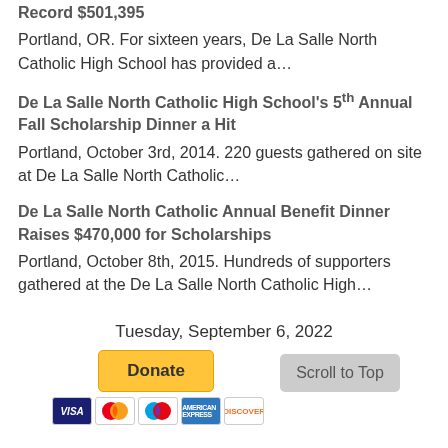Record $501,395
Portland, OR. For sixteen years, De La Salle North Catholic High School has provided a…
De La Salle North Catholic High School's 5th Annual Fall Scholarship Dinner a Hit
Portland, October 3rd, 2014. 220 guests gathered on site at De La Salle North Catholic…
De La Salle North Catholic Annual Benefit Dinner Raises $470,000 for Scholarships
Portland, October 8th, 2015. Hundreds of supporters gathered at the De La Salle North Catholic High…
Tuesday, September 6, 2022